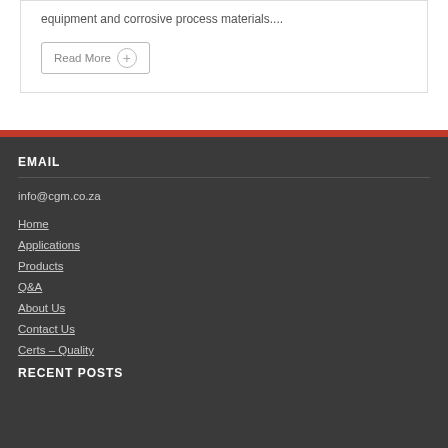equipment and corrosive process materials....
Read More +
EMAIL
info@cgm.co.za
Home
Applications
Products
Q&A
About Us
Contact Us
Certs – Quality
RECENT POSTS